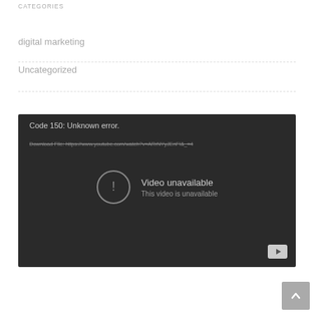CATEGORIES
digital marketing
Uncategorized
[Figure (screenshot): Embedded YouTube video player showing an error: 'Code 150: Unknown error.' with a download file link and 'Video unavailable / This video is unavailable' message, with a YouTube button in the bottom right.]